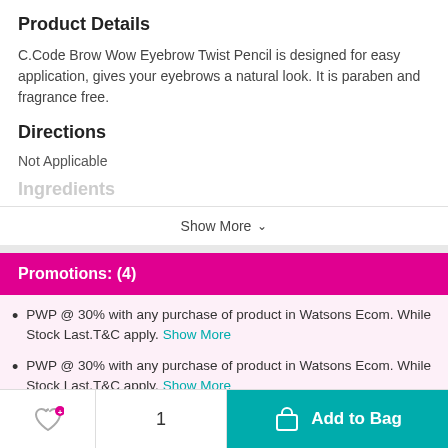Product Details
C.Code Brow Wow Eyebrow Twist Pencil is designed for easy application, gives your eyebrows a natural look. It is paraben and fragrance free.
Directions
Not Applicable
Ingredients
Show More
Promotions: (4)
PWP @ 30% with any purchase of product in Watsons Ecom. While Stock Last.T&C apply. Show More
PWP @ 30% with any purchase of product in Watsons Ecom. While Stock Last.T&C apply. Show More
PWP @ RM30...
1
Add to Bag